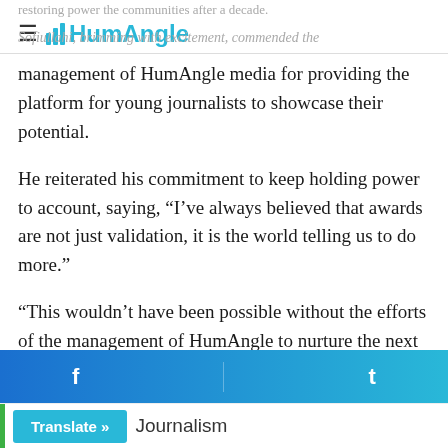HumAngle
management of HumAngle media for providing the platform for young journalists to showcase their potential.
He reiterated his commitment to keep holding power to account, saying, “I’ve always believed that awards are not just validation, it is the world telling us to do more.”
“This wouldn’t have been possible without the efforts of the management of HumAngle to nurture the next generation of journalists in the country. We’ll keep it up.”
Translate » Journalism